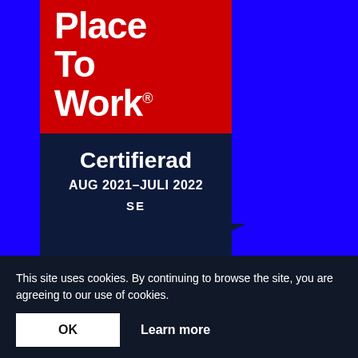[Figure (logo): Great Place To Work certified badge with red upper section showing 'Place To Work®' text and dark navy lower shield/pennant section showing 'Certifierad AUG 2021–JULI 2022 SE']
[Figure (logo): UC (credit bureau) logo with green leaf motif, partially visible, with text 'NORDICGROWTH TILLVÄXTC... ONLINE-PA... 115566-5521...' behind it]
This site uses cookies. By continuing to browse the site, you are agreeing to our use of cookies.
OK
Learn more